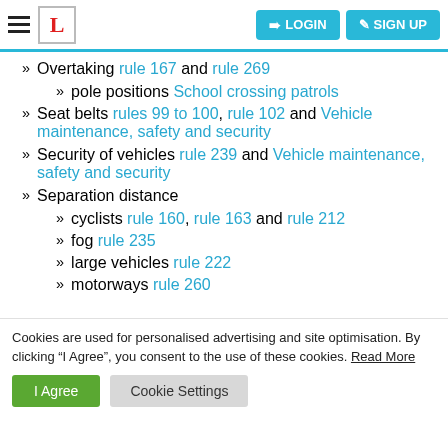LOGIN  SIGN UP
» Overtaking rule 167 and rule 269
» pole positions School crossing patrols
» Seat belts rules 99 to 100, rule 102 and Vehicle maintenance, safety and security
» Security of vehicles rule 239 and Vehicle maintenance, safety and security
» Separation distance
» cyclists rule 160, rule 163 and rule 212
» fog rule 235
» large vehicles rule 222
» motorways rule 260
Cookies are used for personalised advertising and site optimisation. By clicking “I Agree”, you consent to the use of these cookies. Read More